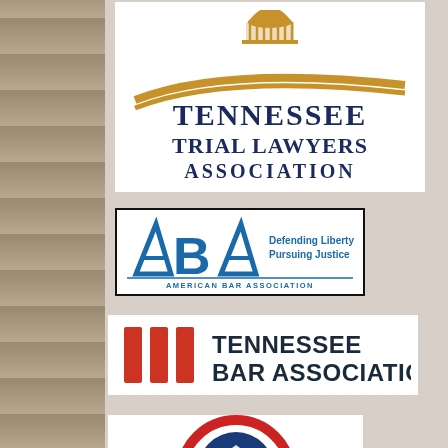[Figure (logo): Tennessee Trial Lawyers Association logo with gold capitol building silhouette and navy blue text]
[Figure (logo): American Bar Association logo with blue ABA letters, tagline 'Defending Liberty Pursuing Justice', and 'AMERICAN BAR ASSOCIATION' text]
[Figure (logo): Tennessee Bar Association logo with three red vertical bars and bold dark text 'TENNESSEE BAR ASSOCIATION']
[Figure (logo): Partially visible circular logo with red and blue, cut off at bottom of page]